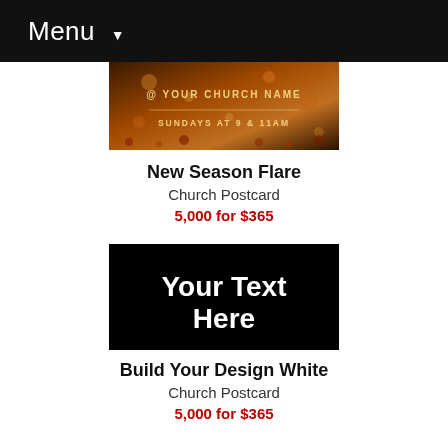Menu ▾
[Figure (photo): Church postcard image with warm autumn tones, text reading '@ YOUR CHURCH NAME' and 'SUNDAYS AT 9 & 11AM']
New Season Flare
Church Postcard
5,000 for $365
[Figure (illustration): Black rectangle postcard template with white bold text 'Your Text Here']
Build Your Design White
Church Postcard
5,000 for $365